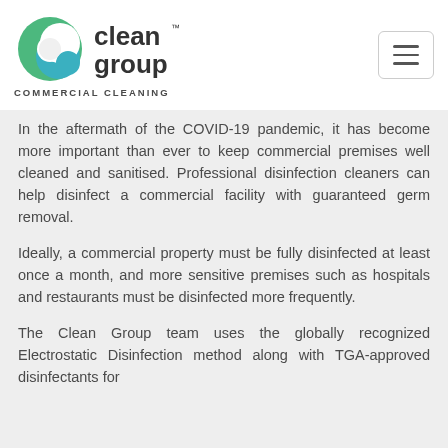[Figure (logo): Clean Group Commercial Cleaning logo with green and teal swirl C icon and 'clean group' text, followed by 'COMMERCIAL CLEANING' tagline]
In the aftermath of the COVID-19 pandemic, it has become more important than ever to keep commercial premises well cleaned and sanitised. Professional disinfection cleaners can help disinfect a commercial facility with guaranteed germ removal.
Ideally, a commercial property must be fully disinfected at least once a month, and more sensitive premises such as hospitals and restaurants must be disinfected more frequently.
The Clean Group team uses the globally recognized Electrostatic Disinfection method along with TGA-approved disinfectants for